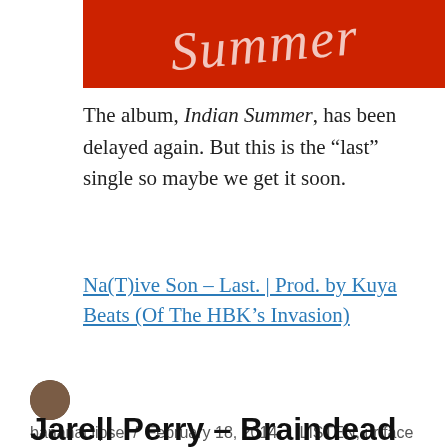[Figure (photo): Red background album art with cursive white text reading 'Summer' (partial, cropped at top)]
The album, Indian Summer, has been delayed again. But this is the “last” single so maybe we get it soon.
Na(T)ive Son – Last. | Prod. by Kuya Beats (Of The HBK’s Invasion)
bananaclipse / February 18, 2014 / LISTEN, ur face / Leave a comment
Jarell Perry – Braindead